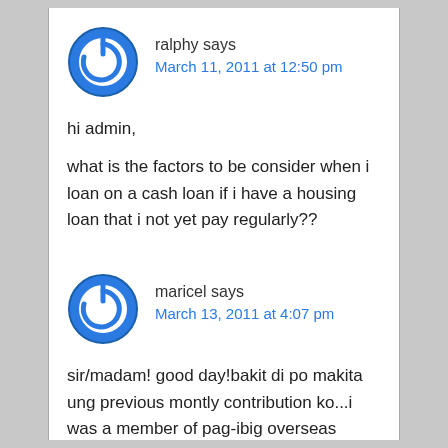ralphy says
March 11, 2011 at 12:50 pm
hi admin,
what is the factors to be consider when i loan on a cash loan if i have a housing loan that i not yet pay regularly??
maricel says
March 13, 2011 at 4:07 pm
sir/madam! good day!bakit di po makita ung previous montly contribution ko...i was a member of pag-ibig overseas program since